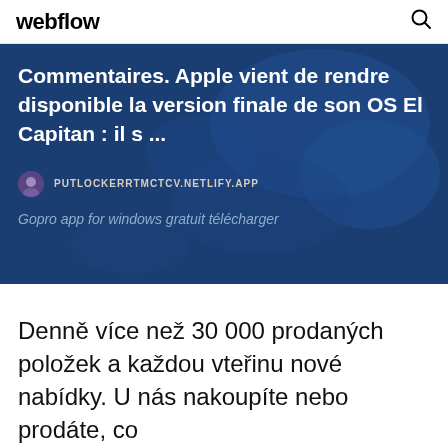webflow
[Figure (illustration): Dark blue banner with world map background showing a blog post card preview with title text in French and a source URL]
Commentaires. Apple vient de rendre disponible la version finale de son OS El Capitan : il s ...
PUTLOCKERRTMCTCV.NETLIFY.APP
Gopro app for windows gratuit télécharger
Denně více než 30 000 prodaných položek a každou vteřinu nové nabídky. U nás nakoupíte nebo prodáte, co